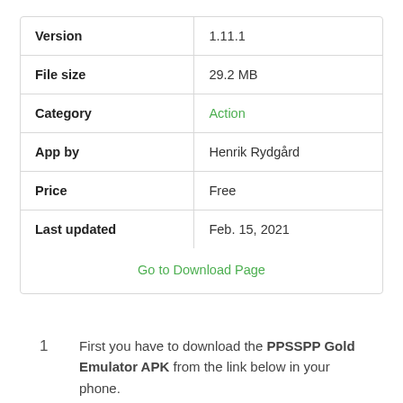|  |  |
| --- | --- |
| Version | 1.11.1 |
| File size | 29.2 MB |
| Category | Action |
| App by | Henrik Rydgård |
| Price | Free |
| Last updated | Feb. 15, 2021 |
Go to Download Page
1  First you have to download the PPSSPP Gold Emulator APK from the link below in your phone.